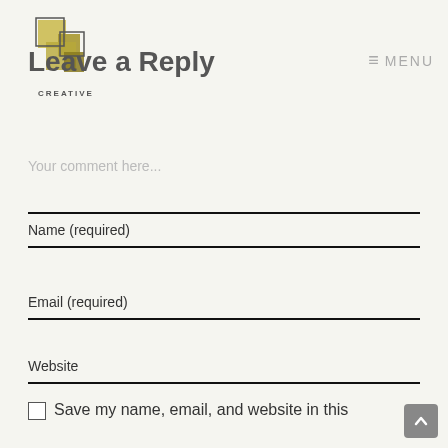[Figure (logo): BMG Creative logo with gold/yellow geometric B shapes and text 'BMG CREATIVE' below]
Leave a Reply
≡  MENU
Your comment here...
Name (required)
Email (required)
Website
Save my name, email, and website in this